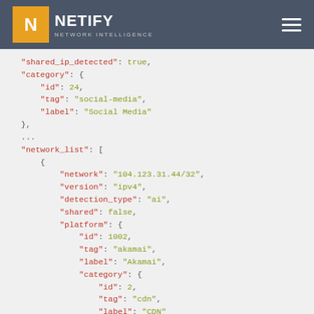[Figure (logo): Netify Network Intelligence logo with orange N icon and white text on dark gray header bar with hamburger menu]
JSON code snippet showing shared_ip_detected, category, network_list with network, version, detection_type, shared, platform fields including id, tag, label, category with id, tag, label for CDN